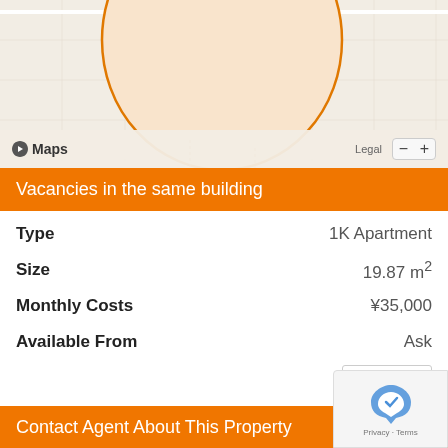[Figure (screenshot): Apple Maps view showing a map with grid lines and an orange-bordered circle shape on a beige background]
Vacancies in the same building
|  |  |
| --- | --- |
| Type | 1K Apartment |
| Size | 19.87 m² |
| Monthly Costs | ¥35,000 |
| Available From | Ask |
View
Contact Agent About This Property
Name